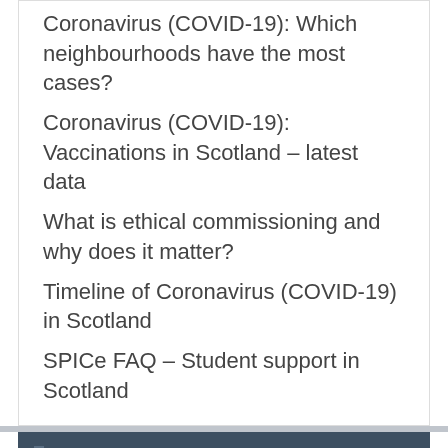Coronavirus (COVID-19): Which neighbourhoods have the most cases?
Coronavirus (COVID-19): Vaccinations in Scotland – latest data
What is ethical commissioning and why does it matter?
Timeline of Coronavirus (COVID-19) in Scotland
SPICe FAQ – Student support in Scotland
Privacy & Cookies: This site uses cookies. By continuing to use this website, you agree to their use. To find out more, including how to control cookies, see here: Cookie Policy
Close and accept